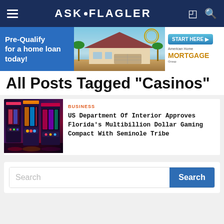ASK·FLAGLER
[Figure (screenshot): Advertisement banner: Pre-Qualify for a home loan today! with house image and American Home Mortgage Group logo with START HERE button]
All Posts Tagged "Casinos"
[Figure (photo): Slot machine casino interior with colorful lit machines]
BUSINESS
US Department Of Interior Approves Florida's Multibillion Dollar Gaming Compact With Seminole Tribe
Search